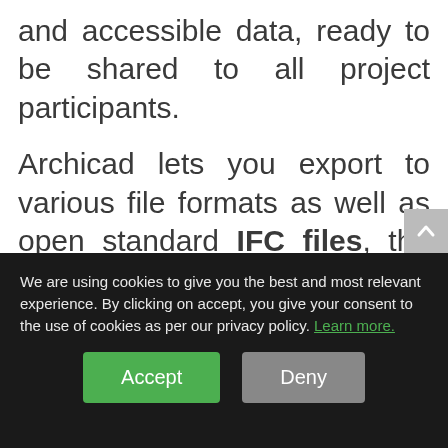and accessible data, ready to be shared to all project participants.
Archicad lets you export to various file formats as well as open standard IFC files, the data will be readable by all other BIM software.
We are using cookies to give you the best and most relevant experience. By clicking on accept, you give your consent to the use of cookies as per our privacy policy. Learn more.
Accept
Deny